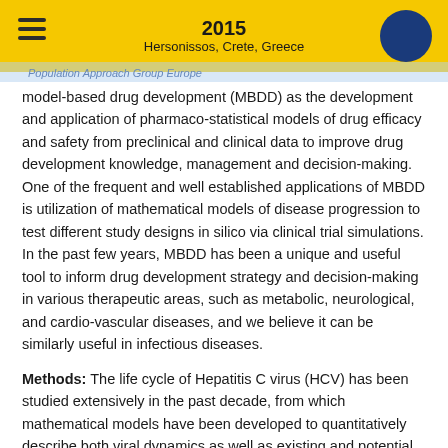2015
Hersonissos, Crete, Greece
Population Approach Group Europe
model-based drug development (MBDD) as the development and application of pharmaco-statistical models of drug efficacy and safety from preclinical and clinical data to improve drug development knowledge, management and decision-making. One of the frequent and well established applications of MBDD is utilization of mathematical models of disease progression to test different study designs in silico via clinical trial simulations. In the past few years, MBDD has been a unique and useful tool to inform drug development strategy and decision-making in various therapeutic areas, such as metabolic, neurological, and cardio-vascular diseases, and we believe it can be similarly useful in infectious diseases.
Methods: The life cycle of Hepatitis C virus (HCV) has been studied extensively in the past decade, from which mathematical models have been developed to quantitatively describe both viral dynamics as well as existing and potential therapeutic interventions. The models have also been well validated against the rich clinical data of patient viral load